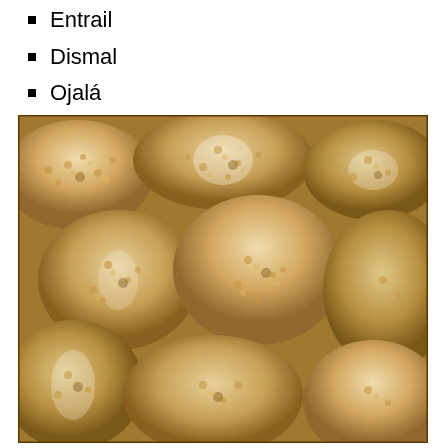Entrail
Dismal
Ojalá
Lachesism
[Figure (photo): Close-up photo of multiple bags of popcorn or puffed snacks packed in clear plastic bags, seen from above, filling the frame.]